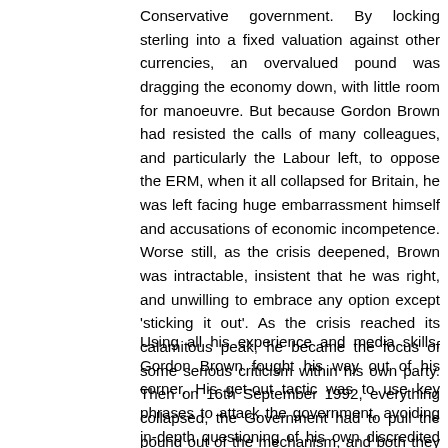Conservative government. By locking sterling into a fixed valuation against other currencies, an overvalued pound was dragging the economy down, with little room for manoeuvre. But because Gordon Brown had resisted the calls of many colleagues, and particularly the Labour left, to oppose the ERM, when it all collapsed for Britain, he was left facing huge embarrassment himself and accusations of economic incompetence. Worse still, as the crisis deepened, Brown was intractable, insistent that he was right, and unwilling to embrace any option except 'sticking it out'. As the crisis reached its calamitous peak, he became the focus of some serious criticism within his own party. Then on 16th September 1992, everything collapsed, the Government had to pull the pound out of the mechanism, and both they and Brown were left looking like fools. It was a critical mistake, a fundamental error, which threatened his whole political standing.
Using all his experience and media skills, Gordon Brown fought his way out of his corner. His get-out tactic was to use key phrases to attack the government, avoiding in-depth questioning of his own discredited position. These sound-bites he repeated like mantras, and the public mood